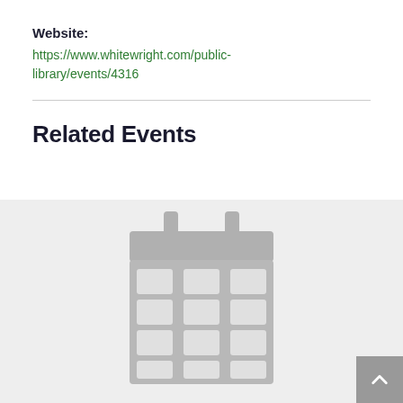Website:
https://www.whitewright.com/public-library/events/4316
Related Events
[Figure (illustration): A placeholder calendar icon in gray on a light gray background, representing a related event image. A scroll-to-top button (upward chevron) is in the bottom-right corner.]